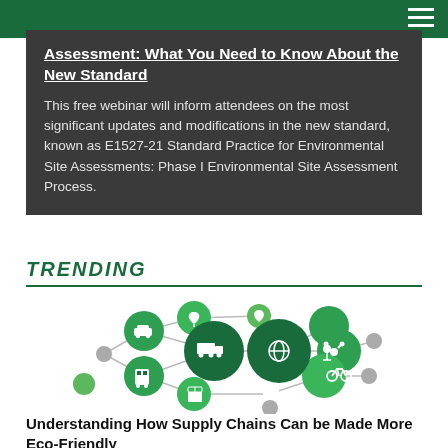Assessment: What You Need to Know About the New Standard
This free webinar will inform attendees on the most significant updates and modifications in the new standard, known as E1527-21 Standard Practice for Environmental Site Assessments: Phase I Environmental Site Assessment Process.
TRENDING
[Figure (infographic): Network of green circles with white icons representing supply chain elements: trucks, cars, recycling, packages, bicycles, drones, forklifts, buses, boxes, leaves, and globe icons connected by lines.]
Understanding How Supply Chains Can be Made More Eco-Friendly